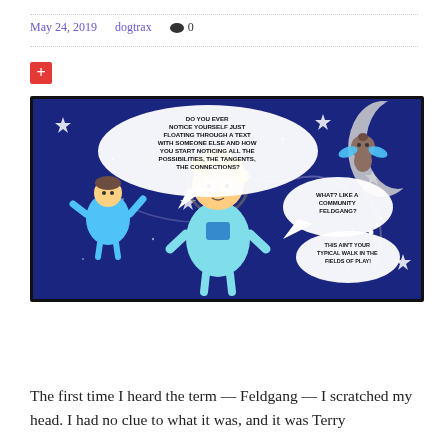May 24, 2019   dogtrax   0
[Figure (illustration): Comic illustration on dark blue space background showing cartoon characters floating in space. A child character on the left has a speech bubble saying 'DO YOU EVER NOTICE YOURSELF JUST FLOATING THROUGH A TEXT WITH SOMEONE ELSE AND HOW YOU START NOTICING ALL THE POSSIBILITIES, THE TANGENTS, THE CONNECTIONS?' A central character with curly yellow hair floats in the middle. A flying dog character on the right has two speech bubbles: 'WHAT? LIKE A COMMUNITY FELDGANG?' and 'THIS AIN'T YOUR TYPICAL WALK IN THE FIELDS OF PLAY!' Stars and a crescent moon are visible in the background.]
The first time I heard the term — Feldgang — I scratched my head. I had no clue to what it was, and it was Terry